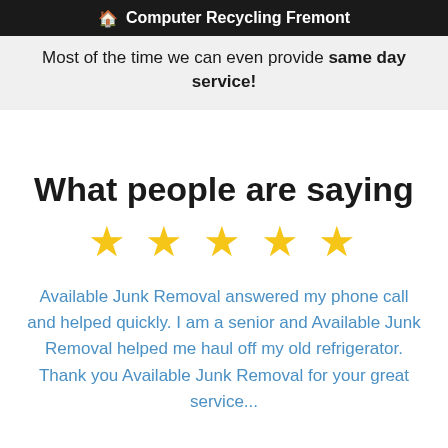🏠 Computer Recycling Fremont
Most of the time we can even provide same day service!
What people are saying
[Figure (illustration): Five yellow star rating icons]
Available Junk Removal answered my phone call and helped quickly. I am a senior and Available Junk Removal helped me haul off my old refrigerator. Thank you Available Junk Removal for your great service...